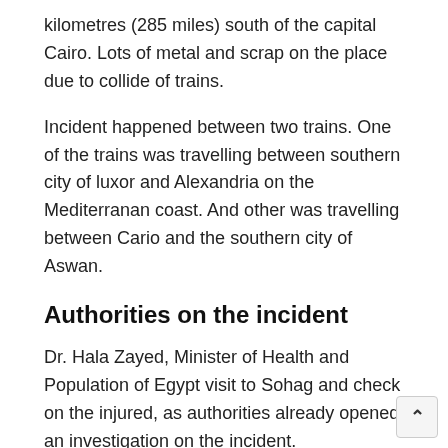kilometres (285 miles) south of the capital Cairo. Lots of metal and scrap on the place due to collide of trains.
Incident happened between two trains. One of the trains was travelling between southern city of luxor and Alexandria on the Mediterranan coast. And other was travelling between Cario and the southern city of Aswan.
Authorities on the incident
Dr. Hala Zayed, Minister of Health and Population of Egypt visit to Sohag and check on the injured, as authorities already opened an investigation on the incident.
President, Abdel Fattah al-Sisi declared punishment for anyone who is responsible for this incident.